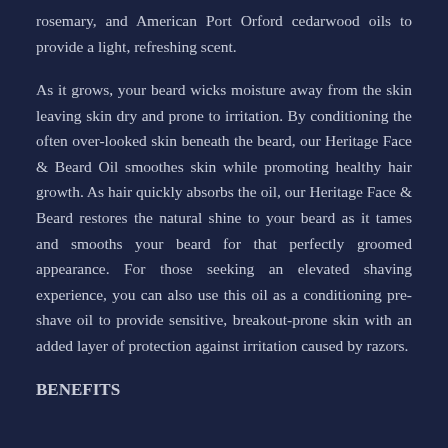rosemary, and American Port Orford cedarwood oils to provide a light, refreshing scent.
As it grows, your beard wicks moisture away from the skin leaving skin dry and prone to irritation. By conditioning the often over-looked skin beneath the beard, our Heritage Face & Beard Oil smoothes skin while promoting healthy hair growth. As hair quickly absorbs the oil, our Heritage Face & Beard restores the natural shine to your beard as it tames and smooths your beard for that perfectly groomed appearance. For those seeking an elevated shaving experience, you can also use this oil as a conditioning pre-shave oil to provide sensitive, breakout-prone skin with an added layer of protection against irritation caused by razors.
BENEFITS